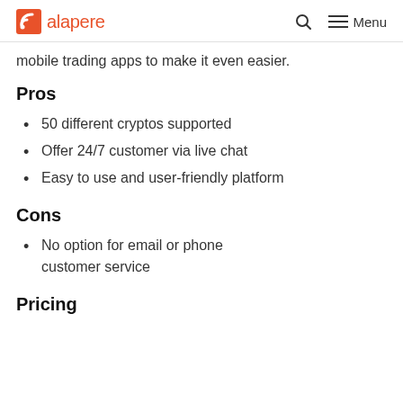alapere | Menu
mobile trading apps to make it even easier.
Pros
50 different cryptos supported
Offer 24/7 customer via live chat
Easy to use and user-friendly platform
Cons
No option for email or phone customer service
Pricing